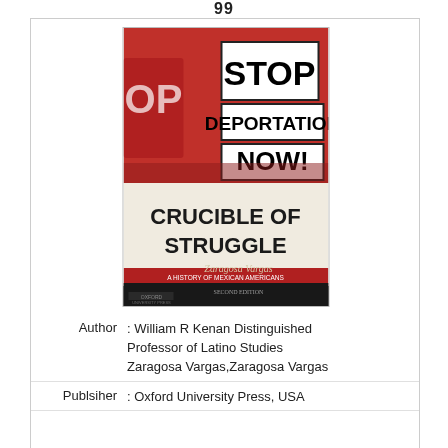99
[Figure (photo): Book cover of 'Crucible of Struggle: A History of Mexican Americans from Colonial Times to the Present Era, Second Edition' by Zaragosa Vargas, published by Oxford University Press. The cover shows protest signs reading 'STOP DEPORTATION NOW!' against a red background, with the book title in bold black text on a cream/beige band, a red subtitle band, and a dark lower section with the author name 'Zaragosa Vargas' and Oxford University Press logo.]
| Author | : William R Kenan Distinguished Professor of Latino Studies Zaragosa Vargas,Zaragosa Vargas |
| Publsiher | : Oxford University Press, USA |